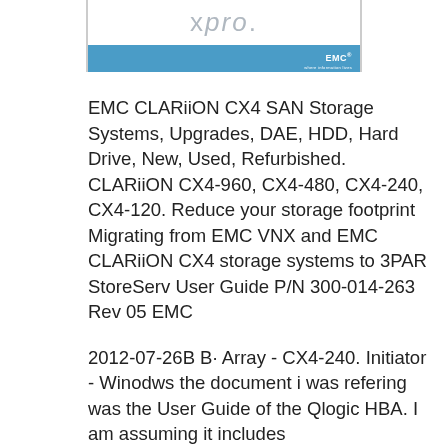xpro EMC
EMC CLARiiON CX4 SAN Storage Systems, Upgrades, DAE, HDD, Hard Drive, New, Used, Refurbished. CLARiiON CX4-960, CX4-480, CX4-240, CX4-120. Reduce your storage footprint Migrating from EMC VNX and EMC CLARiiON CX4 storage systems to 3PAR StoreServ User Guide P/N 300-014-263 Rev 05 EMC
2012-07-26B B· Array - CX4-240. Initiator - Winodws the document i was refering was the User Guide of the Qlogic HBA. I am assuming it includes